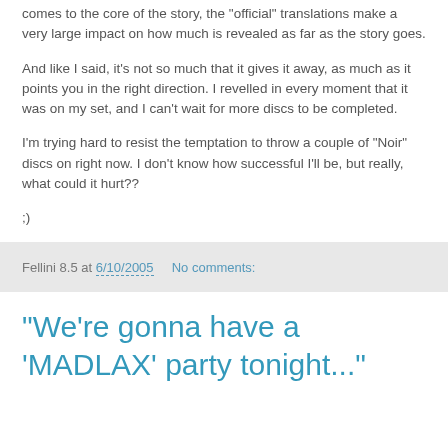comes to the core of the story, the "official" translations make a very large impact on how much is revealed as far as the story goes.
And like I said, it's not so much that it gives it away, as much as it points you in the right direction. I revelled in every moment that it was on my set, and I can't wait for more discs to be completed.
I'm trying hard to resist the temptation to throw a couple of "Noir" discs on right now. I don't know how successful I'll be, but really, what could it hurt??
;)
Fellini 8.5 at 6/10/2005   No comments:
"We're gonna have a 'MADLAX' party tonight..."